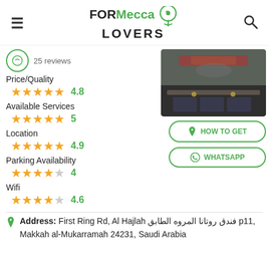FORMecca LOVERS
25 reviews
[Figure (photo): Interior of a restaurant with people seated at tables, neon signs in Arabic on the wall]
Price/Quality 4.8 stars
Available Services 5 stars
Location 4.9 stars
Parking Availability 4 stars
Wifi 4.6 stars
HOW TO GET
WHATSAPP
Address: First Ring Rd, Al Hajlah فندق روتانا المروه الطابق p11, Makkah al-Mukarramah 24231, Saudi Arabia